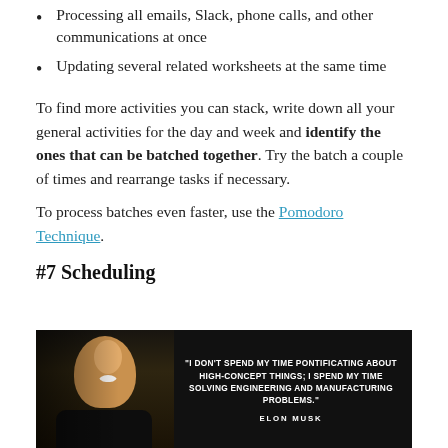Processing all emails, Slack, phone calls, and other communications at once
Updating several related worksheets at the same time
To find more activities you can stack, write down all your general activities for the day and week and identify the ones that can be batched together. Try the batch a couple of times and rearrange tasks if necessary.
To process batches even faster, use the Pomodoro Technique.
#7 Scheduling
[Figure (photo): Black and white photo of Elon Musk smiling, with a quote overlay: "I DON'T SPEND MY TIME PONTIFICATING ABOUT HIGH-CONCEPT THINGS; I SPEND MY TIME SOLVING ENGINEERING AND MANUFACTURING PROBLEMS." attributed to ELON MUSK]